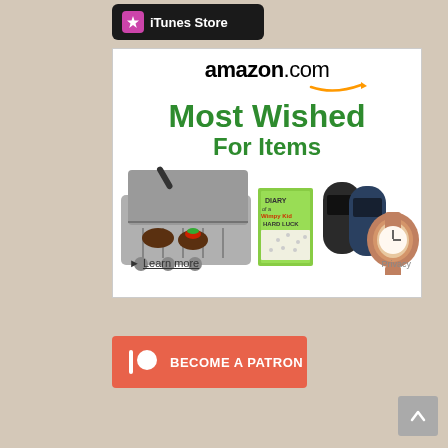[Figure (logo): iTunes Store button with pink star icon on black rounded rectangle background]
[Figure (infographic): Amazon.com Most Wished For Items advertisement banner with grill, Diary of a Wimpy Kid book, fitness trackers, and a watch. Includes 'Learn more' link and 'Privacy' text.]
[Figure (infographic): Patreon 'Become a Patron' button in coral/orange-red color with Patreon logo icon]
[Figure (other): Gray scroll-to-top button with upward chevron arrow]